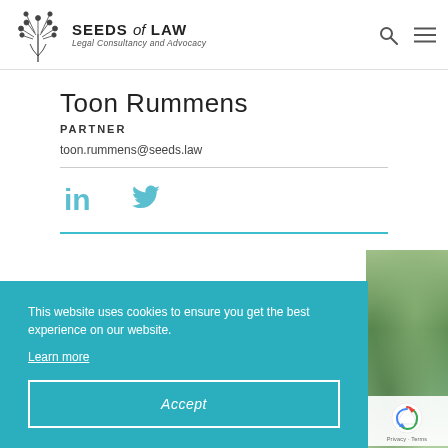SEEDS of LAW — Legal Consultancy and Advocacy
Toon Rummens
PARTNER
toon.rummens@seeds.law
[Figure (illustration): LinkedIn and Twitter social media icons in teal color]
This website uses cookies to ensure you get the best experience on our website. Learn more
Accept
[Figure (photo): Blurred green background photo, partial view]
[Figure (other): reCAPTCHA logo with Privacy and Terms text]